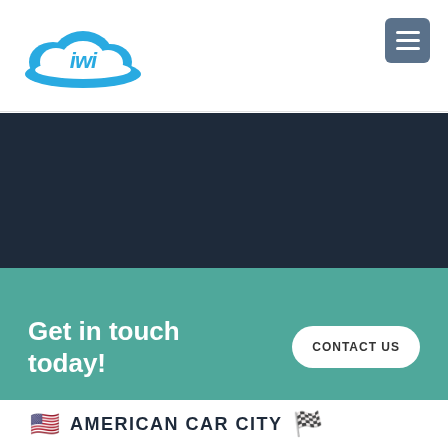[Figure (logo): IWI cloud-style logo in blue, with stylized cloud base and 'iwi' text in script]
[Figure (other): Hamburger menu button, steel-blue rounded square with three white horizontal lines]
[Figure (other): Dark navy blue banner section, empty hero area]
Get in touch today!
[Figure (other): CONTACT US button, white pill-shaped button with dark text]
[Figure (other): US flag emoji and partial 'AMERICAN CAR CITY' text with another flag partially visible at right edge]